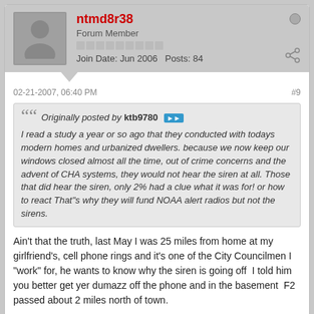ntmd8r38
Forum Member
Join Date: Jun 2006   Posts: 84
02-21-2007, 06:40 PM
#9
Originally posted by ktb9780
I read a study a year or so ago that they conducted with todays modern homes and urbanized dwellers. because we now keep our windows closed almost all the time, out of crime concerns and the advent of CHA systems, they would not hear the siren at all. Those that did hear the siren, only 2% had a clue what it was for! or how to react That"s why they will fund NOAA alert radios but not the sirens.
Ain't that the truth, last May I was 25 miles from home at my girlfriend's, cell phone rings and it's one of the City Councilmen I "work" for, he wants to know why the siren is going off  I told him you better get yer dumazz off the phone and in the basement  F2 passed about 2 miles north of town.
LVFD301
MembersZone Subscriber